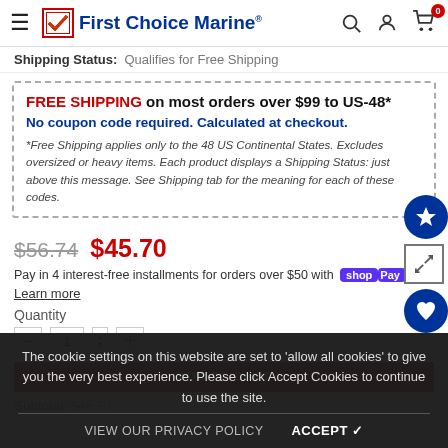First Choice Marine® — navigation header with hamburger menu, search, user, and cart icons
Shipping Status: Qualifies for Free Shipping
FREE SHIPPING on most orders over $99 to US-48* No coupon code required. Calculated at checkout. *Free Shipping applies only to the 48 US Continental States. Excludes oversized or heavy items. Each product displays a Shipping Status: just above this message. See Shipping tab for the meaning for each of these codes.
$56.74  $45.70
Pay in 4 interest-free installments for orders over $50 with shop Pay
Learn more
Quantity
Subtotal: $45.70
The cookie settings on this website are set to 'allow all cookies' to give you the very best experience. Please click Accept Cookies to continue to use the site.
VIEW OUR PRIVACY POLICY    ACCEPT ✔